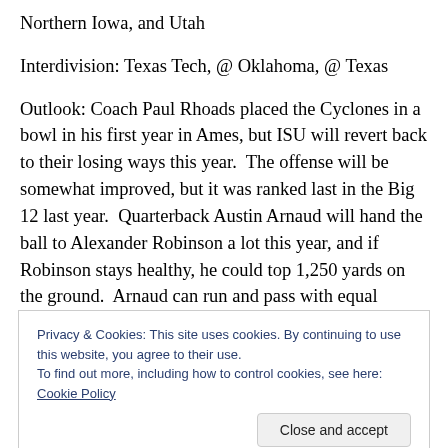Northern Iowa, and Utah
Interdivision: Texas Tech, @ Oklahoma, @ Texas
Outlook: Coach Paul Rhoads placed the Cyclones in a bowl in his first year in Ames, but ISU will revert back to their losing ways this year.  The offense will be somewhat improved, but it was ranked last in the Big 12 last year.  Quarterback Austin Arnaud will hand the ball to Alexander Robinson a lot this year, and if Robinson stays healthy, he could top 1,250 yards on the ground.  Arnaud can run and pass with equal competency, so he should take some of
Privacy & Cookies: This site uses cookies. By continuing to use this website, you agree to their use.
To find out more, including how to control cookies, see here: Cookie Policy
team All-Big 12 selection last year.